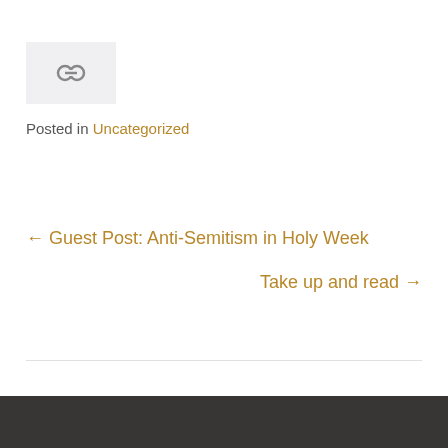[Figure (illustration): Small grey box with a chain/link icon (two overlapping circles with chain links) representing a hyperlink or attachment icon]
Posted in Uncategorized
← Guest Post: Anti-Semitism in Holy Week
Take up and read →